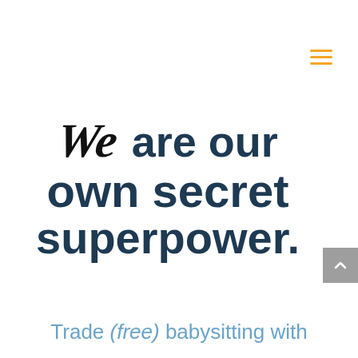We are our own secret superpower.
Trade (free) babysitting with